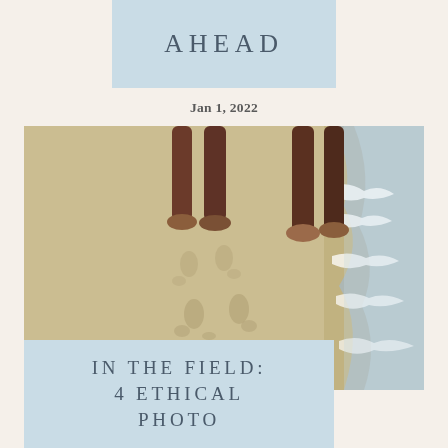AHEAD
Jan 1, 2022
[Figure (photo): Overhead view of two people standing barefoot on wet sand at a beach shoreline, with ocean waves visible on the right side and footprints in the sand below them.]
IN THE FIELD: 4 ETHICAL PHOTO